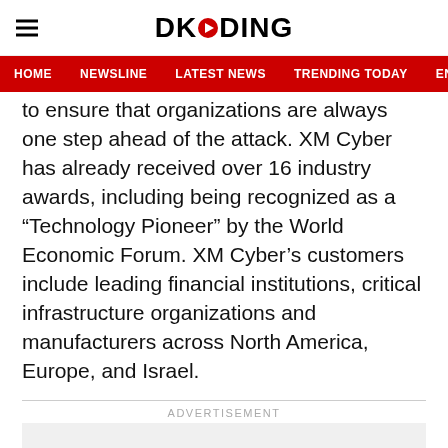DKODING
HOME  NEWSLINE  LATEST NEWS  TRENDING TODAY  ENT
to ensure that organizations are always one step ahead of the attack. XM Cyber has already received over 16 industry awards, including being recognized as a “Technology Pioneer” by the World Economic Forum. XM Cyber’s customers include leading financial institutions, critical infrastructure organizations and manufacturers across North America, Europe, and Israel.
ADVERTISEMENT